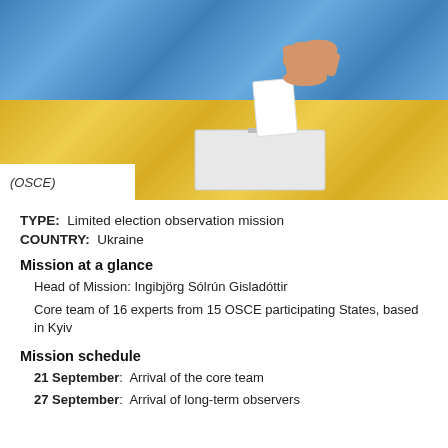[Figure (photo): Hand inserting a ballot into a white ballot box in front of a Ukrainian flag (blue and yellow)]
(OSCE)
TYPE:  Limited election observation mission
COUNTRY:  Ukraine
Mission at a glance
Head of Mission: Ingibjörg Sólrún Gisladóttir
Core team of 16 experts from 15 OSCE participating States, based in Kyiv
Mission schedule
21 September:  Arrival of the core team
27 September:  Arrival of long-term observers